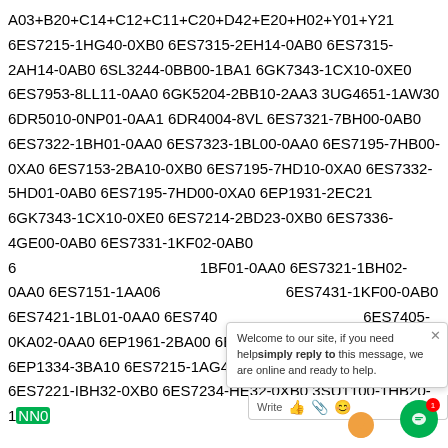A03+B20+C14+C12+C11+C20+D42+E20+H02+Y01+Y21 6ES7215-1HG40-0XB0 6ES7315-2EH14-0AB0 6ES7315-2AH14-0AB0 6SL3244-0BB00-1BA1 6GK7343-1CX10-0XE0 6ES7953-8LL11-0AA0 6GK5204-2BB10-2AA3 3UG4651-1AW30 6DR5010-0NP01-0AA1 6DR4004-8VL 6ES7321-7BH00-0AB0 6ES7322-1BH01-0AA0 6ES7323-1BL00-0AA0 6ES7195-7HB00-0XA0 6ES7153-2BA10-0XB0 6ES7195-7HD10-0XA0 6ES7332-5HD01-0AB0 6ES7195-7HD00-0XA0 6EP1931-2EC21 6GK7343-1CX10-0XE0 6ES7214-2BD23-0XB0 6ES7336-4GE00-0AB0 6ES7331-1KF02-0AB0 6ES7331-1BF01-0AA0 6ES7321-1BH02-0AA0 6ES7151-1AA06 6ES7431-1KF00-0AB0 6ES7421-1BL01-0AA0 6ES740 6ES7405-0KA02-0AA0 6EP1961-2BA00 6ES7277-0A 6EP1334-3BA10 6ES7215-1AG40-0XB0 6ES7223-1BL32-0XB0 6ES7221-IBH32-0XB0 6ES7234-HE32-0XB0 3SU1100-1HB20-1NN0
[Figure (screenshot): Live chat widget overlay showing 'Welcome to our site, if you need help simply reply to this message, we are online and ready to help.' with Write bar, avatar icon, and green chat button with badge '1'.]